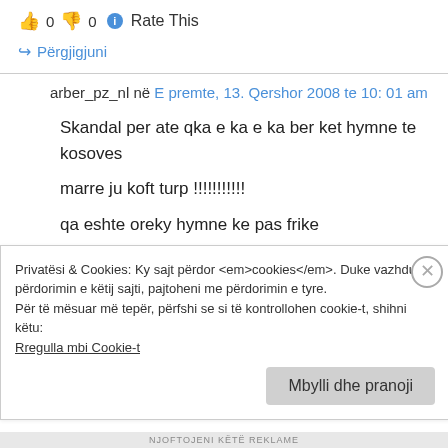👍 0 👎 0 ℹ Rate This
↪ Përgjigjuni
arber_pz_nl në E premte, 13. Qershor 2008 te 10: 01 am
Skandal per ate qka e ka e ka ber ket hymne te kosoves
marre ju koft turp !!!!!!!!!!!
qa eshte oreky hymne ke pas frike
Privatësi & Cookies: Ky sajt përdor <em>cookies</em>. Duke vazhduar përdorimin e këtij sajti, pajtoheni me përdorimin e tyre.
Për të mësuar më tepër, përfshi se si të kontrollohen cookie-t, shihni këtu:
Rregulla mbi Cookie-t
Mbylli dhe pranoji